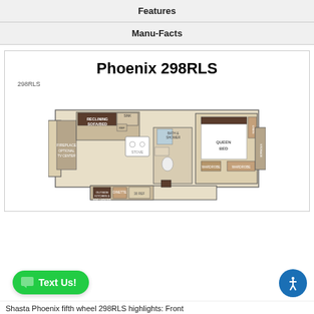Features
Manu-Facts
Phoenix 298RLS
298RLS
[Figure (floorplan): Floor plan diagram of the Shasta Phoenix 298RLS fifth wheel RV showing bedroom, bathroom, kitchen, living area, and slide-outs.]
Shasta Phoenix fifth wheel 298RLS highlights: Front